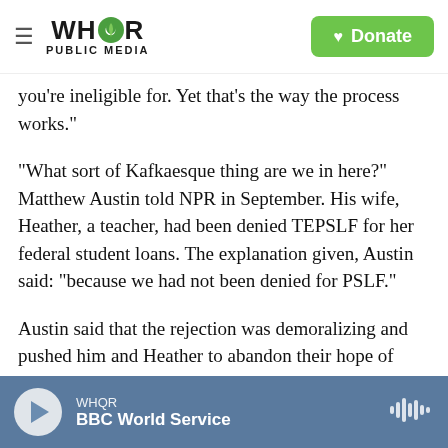WHQR PUBLIC MEDIA | Donate
you're ineligible for. Yet that's the way the process works."
"What sort of Kafkaesque thing are we in here?" Matthew Austin told NPR in September. His wife, Heather, a teacher, had been denied TEPSLF for her federal student loans. The explanation given, Austin said: "because we had not been denied for PSLF."
Austin said that the rejection was demoralizing and pushed him and Heather to abandon their hope of loan forgiveness. But after being contacted by NPR, they reapplied one last time. In October, their
WHQR | BBC World Service